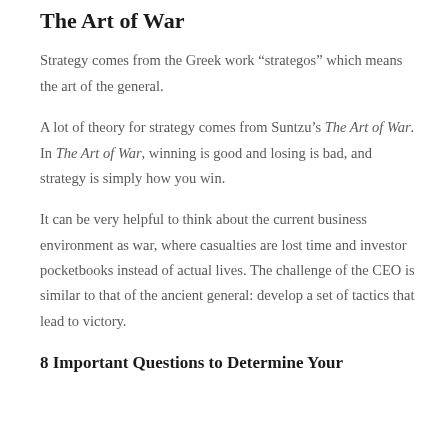The Art of War
Strategy comes from the Greek work “strategos” which means the art of the general.
A lot of theory for strategy comes from Suntzu’s The Art of War. In The Art of War, winning is good and losing is bad, and strategy is simply how you win.
It can be very helpful to think about the current business environment as war, where casualties are lost time and investor pocketbooks instead of actual lives. The challenge of the CEO is similar to that of the ancient general: develop a set of tactics that lead to victory.
8 Important Questions to Determine Your